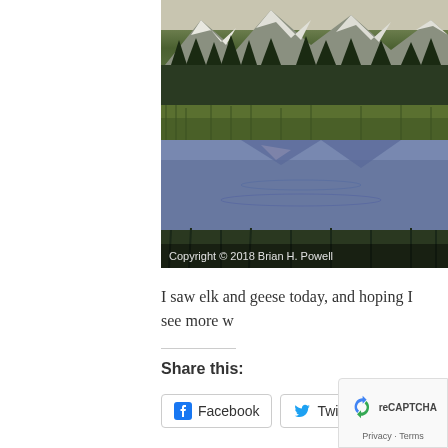[Figure (photo): Landscape photo of mountains with snow-capped peaks, forest of trees, grassland, and a reflective lake/pond in the foreground. Copyright watermark reads 'Copyright © 2018 Brian H. Powell']
I saw elk and geese today, and hoping I see more w...
Share this:
Facebook  Twitter  Linke...